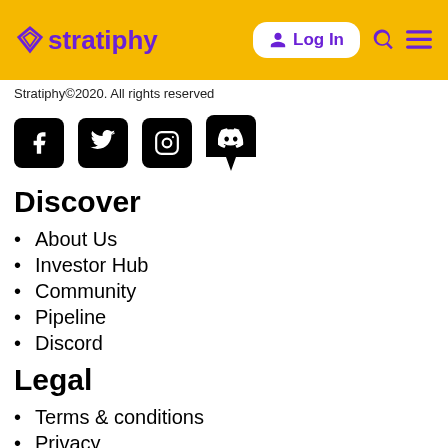stratiphy — Log In
Stratiphy©2020. All rights reserved
[Figure (logo): Social media icons: Facebook, Twitter, Instagram, Discord]
Discover
About Us
Investor Hub
Community
Pipeline
Discord
Legal
Terms & conditions
Privacy
Press Kit